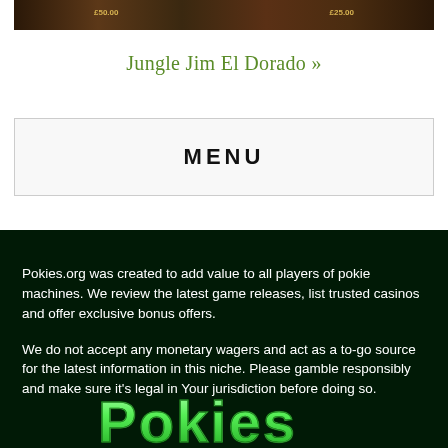[Figure (screenshot): Game screenshot strip showing Jungle Jim El Dorado slot machine with £50.00 and £25.00 price tags visible]
Jungle Jim El Dorado »
MENU
Pokies.org was created to add value to all players of pokie machines. We review the latest game releases, list trusted casinos and offer exclusive bonus offers.
We do not accept any monetary wagers and act as a to-go source for the latest information in this niche. Please gamble responsibly and make sure it's legal in Your jurisdiction before doing so.
[Figure (logo): Pokies.org green logo text at bottom of page]